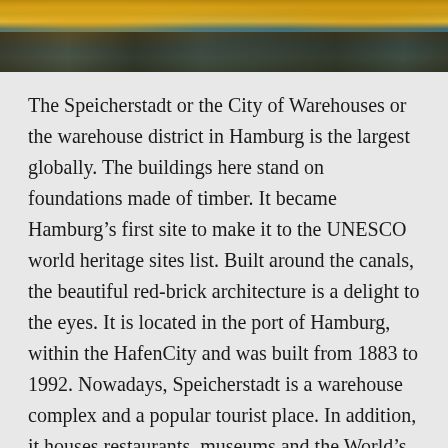[Figure (photo): Aerial or close-up photo of Speicherstadt warehouse district in Hamburg at dusk/evening, showing illuminated red-brick buildings reflected in canal waters with golden and blue tones.]
The Speicherstadt or the City of Warehouses or the warehouse district in Hamburg is the largest globally. The buildings here stand on foundations made of timber. It became Hamburg's first site to make it to the UNESCO world heritage sites list. Built around the canals, the beautiful red-brick architecture is a delight to the eyes. It is located in the port of Hamburg, within the HafenCity and was built from 1883 to 1992. Nowadays, Speicherstadt is a warehouse complex and a popular tourist place. In addition, it houses restaurants, museums and the World's largest model railway within its boundaries. The evenings here are mesmerising, and at day time, the red bricks architecture is brightened by more than 500 spotlights.